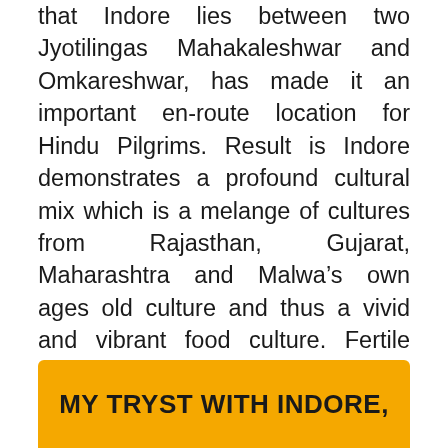that Indore lies between two Jyotilingas Mahakaleshwar and Omkareshwar, has made it an important en-route location for Hindu Pilgrims. Result is Indore demonstrates a profound cultural mix which is a melange of cultures from Rajasthan, Gujarat, Maharashtra and Malwa’s own ages old culture and thus a vivid and vibrant food culture. Fertile black soil of MP also contributes significantly to this by producing everything in abundance and thus making this city a sheer paradise for every food lover.
MY TRYST WITH INDORE,